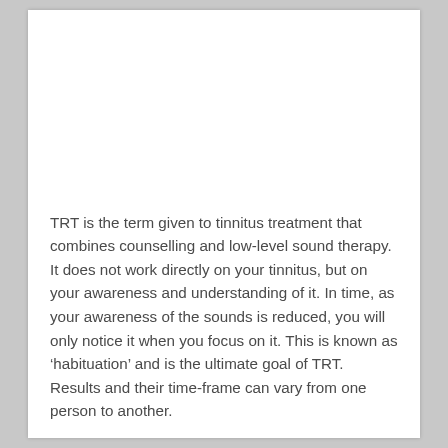TRT is the term given to tinnitus treatment that combines counselling and low-level sound therapy. It does not work directly on your tinnitus, but on your awareness and understanding of it. In time, as your awareness of the sounds is reduced, you will only notice it when you focus on it. This is known as 'habituation' and is the ultimate goal of TRT. Results and their time-frame can vary from one person to another.